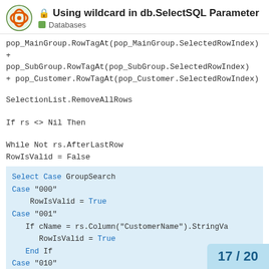🔒 Using wildcard in db.SelectSQL Parameter — Databases
pop_MainGroup.RowTagAt(pop_MainGroup.SelectedRowIndex)
+
pop_SubGroup.RowTagAt(pop_SubGroup.SelectedRowIndex)
+ pop_Customer.RowTagAt(pop_Customer.SelectedRowIndex)
SelectionList.RemoveAllRows
If rs <> Nil Then
While Not rs.AfterLastRow
RowIsValid = False
Select Case GroupSearch
Case "000"
  RowIsValid = True
Case "001"
  If cName = rs.Column("CustomerName").StringVa
    RowIsValid = True
  End If
Case "010"